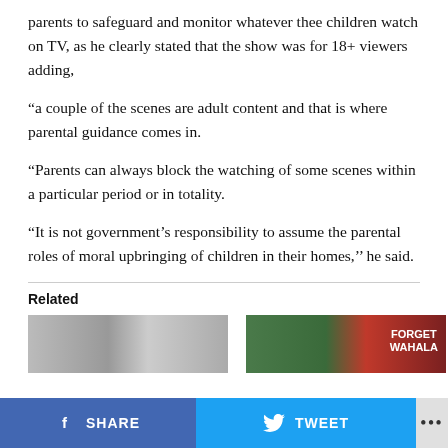parents to safeguard and monitor whatever thee children watch on TV, as he clearly stated that the show was for 18+ viewers adding,
“a couple of the scenes are adult content and that is where parental guidance comes in.
“Parents can always block the watching of some scenes within a particular period or in totality.
“It is not government’s responsibility to assume the parental roles of moral upbringing of children in their homes,’’ he said.
Related
[Figure (photo): Two related article thumbnail images side by side: left is black and white, right has color with text 'FORGET WAHALA']
SHARE   TWEET   ...